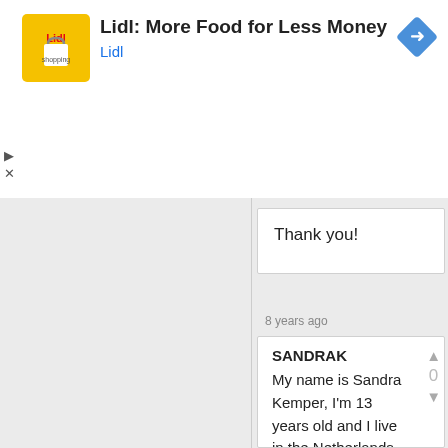[Figure (infographic): Lidl advertisement banner with yellow logo icon, bold title 'Lidl: More Food for Less Money', subtitle 'Lidl' in blue, and a blue diamond-shaped navigation arrow on the right]
Thank you!
8 years ago
SANDRAK
My name is Sandra Kemper, I'm 13 years old and I live in the Netherlands. I have brown hair, brown eyes and glasses (not always necessary) I'm 1.60 meters tall and white. I lived in Shanghai, China for 2 years where I attended an international school, in the